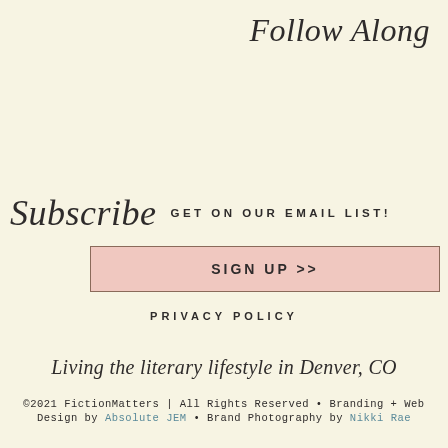Follow Along
Subscribe GET ON OUR EMAIL LIST!
SIGN UP >>
PRIVACY POLICY
Living the literary lifestyle in Denver, CO
©2021 FictionMatters | All Rights Reserved • Branding + Web Design by Absolute JEM • Brand Photography by Nikki Rae